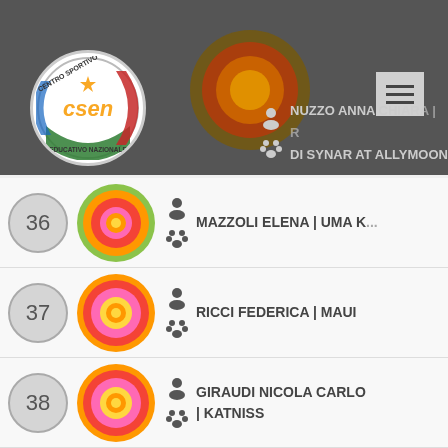NUZZO ANNA CHIARA | R... / DI SYNAR AT ALLYMOON...
36 | MAZZOLI ELENA | UMA K...
37 | RICCI FEDERICA | MAUI
38 | GIRAUDI NICOLA CARLO | KATNISS
39 | (partial)